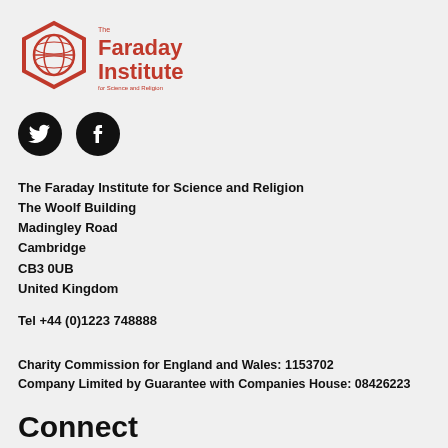[Figure (logo): The Faraday Institute for Science and Religion logo — red hexagonal globe icon with red text 'The Faraday Institute for Science and Religion']
[Figure (illustration): Two black circular social media icons: Twitter bird icon and Facebook 'f' icon]
The Faraday Institute for Science and Religion
The Woolf Building
Madingley Road
Cambridge
CB3 0UB
United Kingdom
Tel +44 (0)1223 748888
Charity Commission for England and Wales: 1153702
Company Limited by Guarantee with Companies House: 08426223
Connect